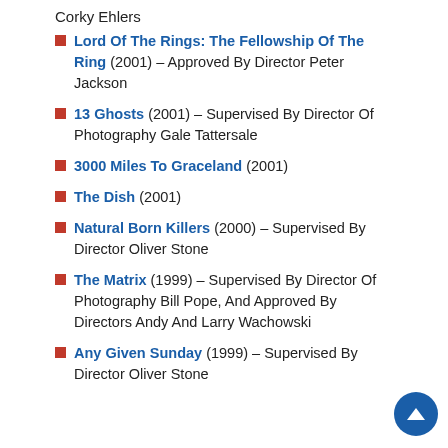Corky Ehlers
Lord Of The Rings: The Fellowship Of The Ring (2001) – Approved By Director Peter Jackson
13 Ghosts (2001) – Supervised By Director Of Photography Gale Tattersale
3000 Miles To Graceland (2001)
The Dish (2001)
Natural Born Killers (2000) – Supervised By Director Oliver Stone
The Matrix (1999) – Supervised By Director Of Photography Bill Pope, And Approved By Directors Andy And Larry Wachowski
Any Given Sunday (1999) – Supervised By Director Oliver Stone